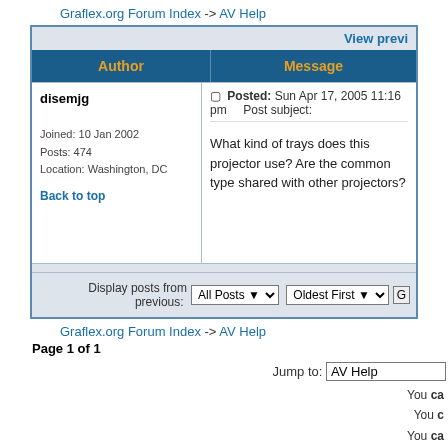Graflex.org Forum Index -> AV Help
View previ
| Author | Message |
| --- | --- |
| disemjg

Joined: 10 Jan 2002
Posts: 474
Location: Washington, DC

Back to top | Posted: Sun Apr 17, 2005 11:16 pm    Post subject:

What kind of trays does this projector use? Are the common type shared with other projectors? |
Display posts from previous: All Posts  Oldest First
Graflex.org Forum Index -> AV Help
Page 1 of 1
Jump to: AV Help
You ca
You c
You ca
You cann
You
Powered by phpBB © 2001, 2005 phpBB Group